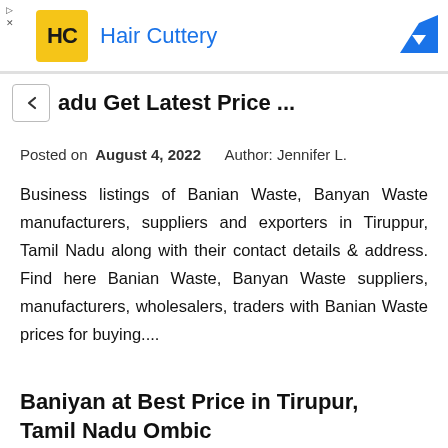[Figure (logo): Hair Cuttery ad banner with HC logo and blue arrow icon on the right]
adu Get Latest Price ...
Posted on  August 4, 2022    Author: Jennifer L.
Business listings of Banian Waste, Banyan Waste manufacturers, suppliers and exporters in Tiruppur, Tamil Nadu along with their contact details & address. Find here Banian Waste, Banyan Waste suppliers, manufacturers, wholesalers, traders with Banian Waste prices for buying....
Baniyan at Best Price in Tirupur, Tamil Nadu Ombic